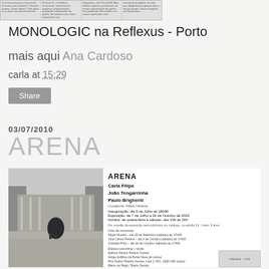[Figure (screenshot): Small newspaper/article clipping strip at top of page]
MONOLOGIC na Reflexus - Porto
mais aqui Ana Cardoso
carla at 15:29
Share
03/07/2010
ARENA
[Figure (photo): Black and white photo of an arena/amphitheatre with two figures walking, alongside ARENA exhibition poster with artist names Carla Filipe, João Tengarrinha, Paulo Brighenti, curadoria Filipa Oliveira, inauguration dia 6 de Julho às 18h30, exposition 7 July to 16 October 2010]